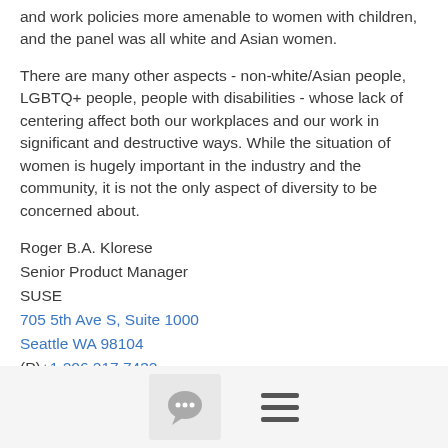and work policies more amenable to women with children, and the panel was all white and Asian women.
There are many other aspects - non-white/Asian people, LGBTQ+ people, people with disabilities - whose lack of centering affect both our workplaces and our work in significant and destructive ways. While the situation of women is hugely important in the industry and the community, it is not the only aspect of diversity to be concerned about.
Roger B.A. Klorese
Senior Product Manager
SUSE
705 5th Ave S, Suite 1000
Seattle WA 98104
(P)+1 206.217.7432
(M)+1 425.444.5493
roger.klorese@...
Schedule a meeting: https://doodle.com/RogerKlorese
[Figure (screenshot): Footer bar with a chat icon button and a hamburger menu icon]